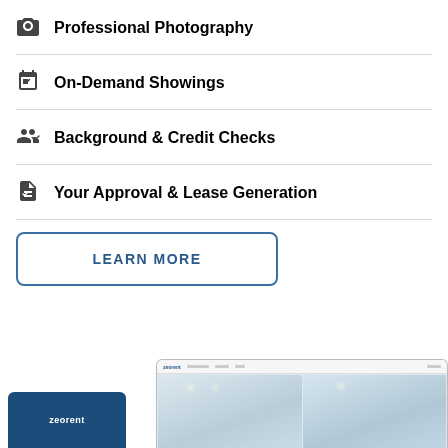Professional Photography
On-Demand Showings
Background & Credit Checks
Your Approval & Lease Generation
LEARN MORE
[Figure (screenshot): Screenshot of a rental website (zeorent) showing interior property photos, with a dark blue button/badge in bottom left]